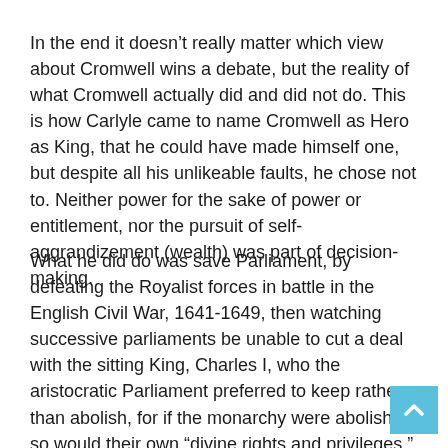In the end it doesn’t really matter which view about Cromwell wins a debate, but the reality of what Cromwell actually did and did not do. This is how Carlyle came to name Cromwell as Hero as King, that he could have made himself one, but despite all his unlikeable faults, he chose not to. Neither power for the sake of power or entitlement, nor the pursuit of self-aggrandizement (wealth) was part of decision-making.
What he did do was save Parliament, by defeating the Royalist forces in battle in the English Civil War, 1641-1649, then watching successive parliaments be unable to cut a deal with the sitting King, Charles I, who the aristocratic Parliament preferred to keep rather than abolish, for if the monarchy were abolished so would their own “divine rights and privileges.” Charles and Parliament could never agree, so finally Gen Cromwell formed a “Rump Parliament” out of just under 50%